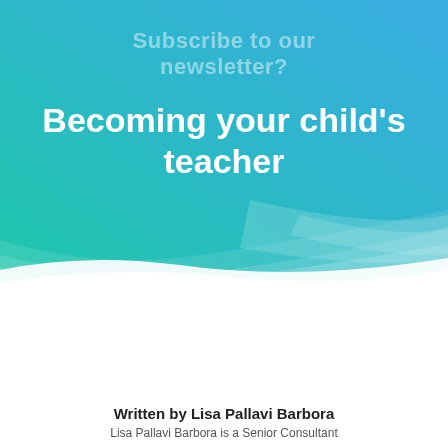[Figure (illustration): Gradient banner background transitioning from blue at top-right to teal/green at bottom-left, with a sweeping curved white wave shape at the bottom of the banner]
Subscribe to our newsletter?
Becoming your child's teacher
Written by Lisa Pallavi Barbora
Lisa Pallavi Barbora is a Senior Consultant